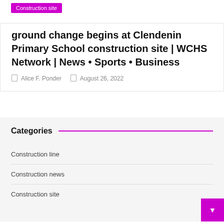Construction site
ground change begins at Clendenin Primary School construction site | WCHS Network | News • Sports • Business
Alice F. Ponder   August 26, 2022
Categories
Construction line
Construction news
Construction site